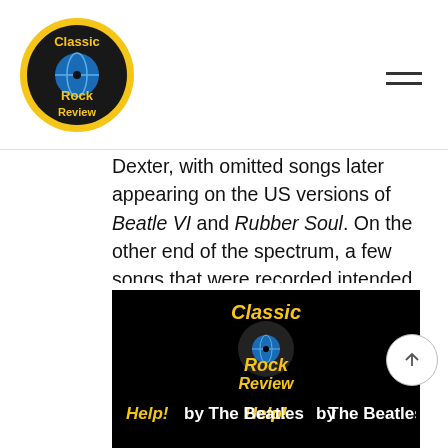Classic Rock Review
Dexter, with omitted songs later appearing on the US versions of Beatle VI and Rubber Soul. On the other end of the spectrum, a few songs that were recorded intended for the film were not used in either the movie or on the album, including the tracks “If You’ve Got Trouble”, “That Means a Lot”, “Yes It Is”, and an early version of, “Wait”, a song re-recorded for Rubber Soul later in the year.
[Figure (logo): Classic Rock Review logo with yellow text and vinyl record graphic on black background, with text 'Help! by The Beatles' below]